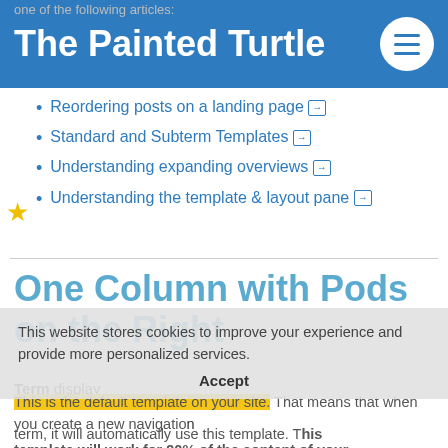The Painted Turtle
Reordering posts on a landing page →
Standard and Subterm Templates →
Understanding expanding overviews →
Understanding the template & layout pane →
One Column with Pods on the Right
Term display
This is the default template on your site. That means that when you create a new navigation term, it will automatically use this template. This template will work for 90% of the content of your
This website stores cookies to improve your experience and provide more personalized services. Accept